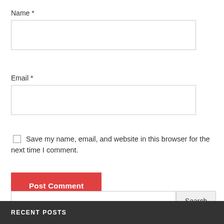Name *
Email *
Save my name, email, and website in this browser for the next time I comment.
Post Comment
Search
RECENT POSTS